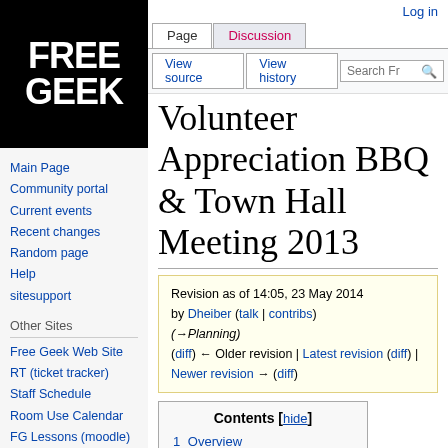[Figure (logo): Free Geek logo — white text on black background showing FREE GEEK in bold letters]
Main Page
Community portal
Current events
Recent changes
Random page
Help
sitesupport
Other Sites
Free Geek Web Site
RT (ticket tracker)
Staff Schedule
Room Use Calendar
FG Lessons (moodle)
Log in
Volunteer Appreciation BBQ & Town Hall Meeting 2013
Revision as of 14:05, 23 May 2014 by Dheiber (talk | contribs) (→Planning) (diff) ← Older revision | Latest revision (diff) | Newer revision → (diff)
Contents [hide]
1 Overview
2 Planning